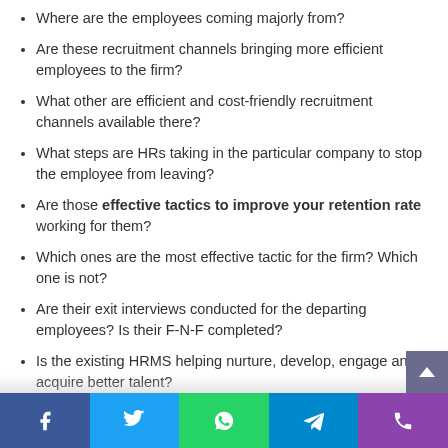Where are the employees coming majorly from?
Are these recruitment channels bringing more efficient employees to the firm?
What other are efficient and cost-friendly recruitment channels available there?
What steps are HRs taking in the particular company to stop the employee from leaving?
Are those effective tactics to improve your retention rate working for them?
Which ones are the most effective tactic for the firm? Which one is not?
Are their exit interviews conducted for the departing employees? Is their F-N-F completed?
Is the existing HRMS helping nurture, develop, engage and acquire better talent?